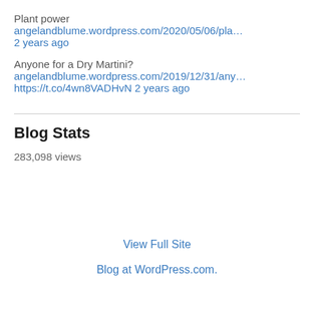Plant power angelandblume.wordpress.com/2020/05/06/pla…
2 years ago
Anyone for a Dry Martini?
angelandblume.wordpress.com/2019/12/31/any…
https://t.co/4wn8VADHvN 2 years ago
Blog Stats
283,098 views
View Full Site
Blog at WordPress.com.